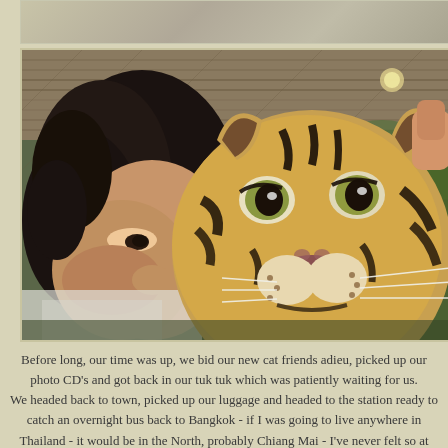[Figure (photo): Top strip showing a partially visible photo, appears to be a landscape or map image in muted tones.]
[Figure (photo): A woman with curly dark hair poses cheek-to-cheek with a tiger cub. The tiger cub is in the foreground, filling most of the frame, with its distinctive striped face and whiskers visible. The background shows a thatched roof structure and green foliage.]
Before long, our time was up, we bid our new cat friends adieu, picked up our photo CD's and got back in our tuk tuk which was patiently waiting for us.
We headed back to town, picked up our luggage and headed to the station ready to catch an overnight bus back to Bangkok - if I was going to live anywhere in Thailand - it would be in the North, probably Chiang Mai - I've never felt so at peace.